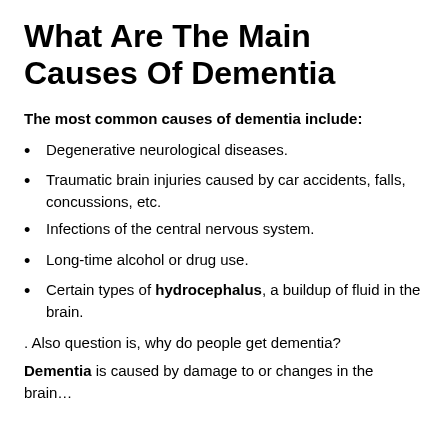What Are The Main Causes Of Dementia
The most common causes of dementia include:
Degenerative neurological diseases.
Traumatic brain injuries caused by car accidents, falls, concussions, etc.
Infections of the central nervous system.
Long-time alcohol or drug use.
Certain types of hydrocephalus, a buildup of fluid in the brain.
. Also question is, why do people get dementia?
Dementia is caused by damage to or changes in the brain…